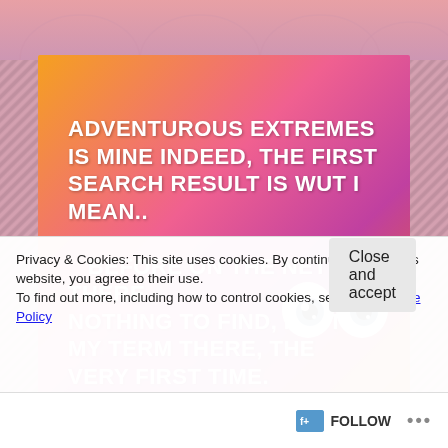[Figure (illustration): A colorful gradient image (orange, pink, magenta, red) with bold white uppercase text and an eyes emoji. Text reads: ADVENTUROUS EXTREMES IS MINE INDEED, THE FIRST SEARCH RESULT IS WUT I MEAN.. BEFORE ON THE NET THERE NOTHING TO FIND, I PUT MY TERM THERE, THE VERY FIRST TIME. ADVENTURE AND EXTREMES, TO BE QUITE SURE, IS DEFINATELY]
Privacy & Cookies: This site uses cookies. By continuing to use this website, you agree to their use.
To find out more, including how to control cookies, see here: Cookie Policy
Close and accept
FOLLOW •••